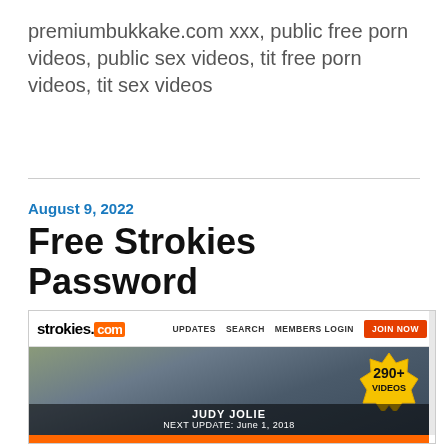premiumbukkake.com xxx, public free porn videos, public sex videos, tit free porn videos, tit sex videos
August 9, 2022
Free Strokies Password
[Figure (screenshot): Screenshot of strokies.com website header with navigation bar showing UPDATES, SEARCH, MEMBERS LOGIN, JOIN NOW button, and a promotional image with '290+ VIDEOS' badge and 'JUDY JOLIE NEXT UPDATE: June 1, 2018' overlay text]